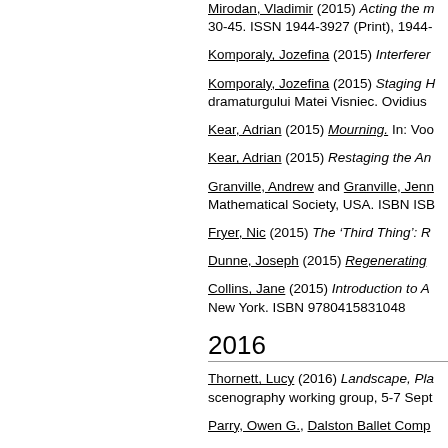Mirodan, Vladimir (2015) Acting the m... 30-45. ISSN 1944-3927 (Print), 1944-...
Komporaly, Jozefina (2015) Interferen...
Komporaly, Jozefina (2015) Staging H... dramaturgului Matei Visniec. Ovidius...
Kear, Adrian (2015) Mourning. In: Voo...
Kear, Adrian (2015) Restaging the An...
Granville, Andrew and Granville, Jen... Mathematical Society, USA. ISBN ISB...
Fryer, Nic (2015) The ‘Third Thing’: R...
Dunne, Joseph (2015) Regenerating...
Collins, Jane (2015) Introduction to A... New York. ISBN 9780415831048
2016
Thornett, Lucy (2016) Landscape, Pla... scenography working group, 5-7 Sept...
Parry, Owen G., Dalston Ballet Comp...
Parry, Owen G. (2016) Sex, Work, an...